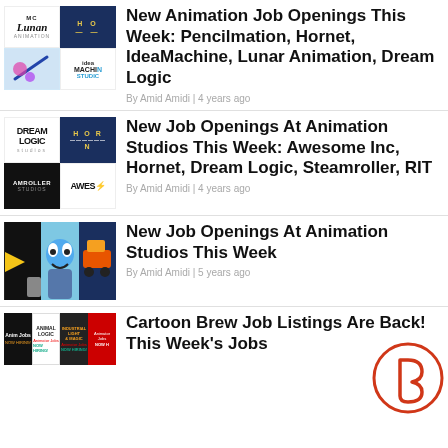[Figure (illustration): Thumbnail collage with Lunan Animation logo, Hornet logo, sketching illustration, Idea Machine Studios logo]
New Animation Job Openings This Week: Pencilmation, Hornet, IdeaMachine, Lunar Animation, Dream Logic
By Amid Amidi | 4 years ago
[Figure (illustration): Thumbnail collage with Dream Logic Studios logo, Hornet logo, Steamroller Studios logo, Awesome Inc logo]
New Job Openings At Animation Studios This Week: Awesome Inc, Hornet, Dream Logic, Steamroller, RIT
By Amid Amidi | 4 years ago
[Figure (illustration): Thumbnail collage with animation character (Gumball), Blaze monster truck, penthouse studios]
New Job Openings At Animation Studios This Week
By Amid Amidi | 5 years ago
[Figure (illustration): Thumbnail collage with Animal Logic, Industrial Light Magic, animator jobs banners]
Cartoon Brew Job Listings Are Back! This Week's Jobs